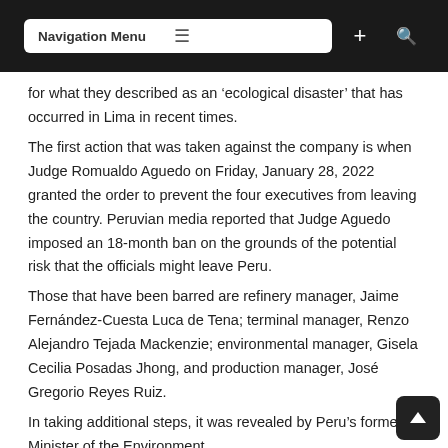Navigation Menu
for what they described as an ‘ecological disaster’ that has occurred in Lima in recent times.
The first action that was taken against the company is when Judge Romualdo Aguedo on Friday, January 28, 2022 granted the order to prevent the four executives from leaving the country. Peruvian media reported that Judge Aguedo imposed an 18-month ban on the grounds of the potential risk that the officials might leave Peru.
Those that have been barred are refinery manager, Jaime Fernández-Cuesta Luca de Tena; terminal manager, Renzo Alejandro Tejada Mackenzie; environmental manager, Gisela Cecilia Posadas Jhong, and production manager, José Gregorio Reyes Ruiz.
In taking additional steps, it was revealed by Peru’s former Minister of the Environment,